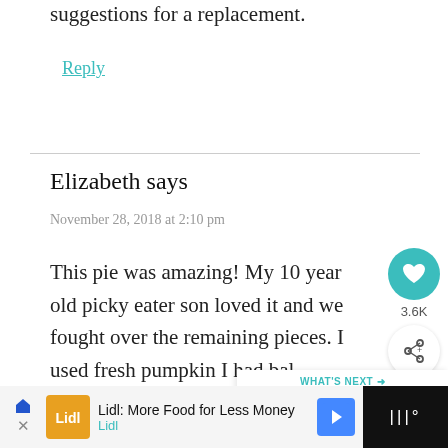suggestions for a replacement.
Reply
Elizabeth says
November 28, 2018 at 2:10 pm
This pie was amazing! My 10 year old picky eater son loved it and we fought over the remaining pieces. I used fresh pumpkin I had bak... ahead of time and I used both
[Figure (screenshot): Social sharing sidebar with heart icon showing 3.6K likes and share button]
[Figure (screenshot): What's Next banner showing thumbnail and text 'The BEST Vegan...']
Lidl: More Food for Less Money Lidl